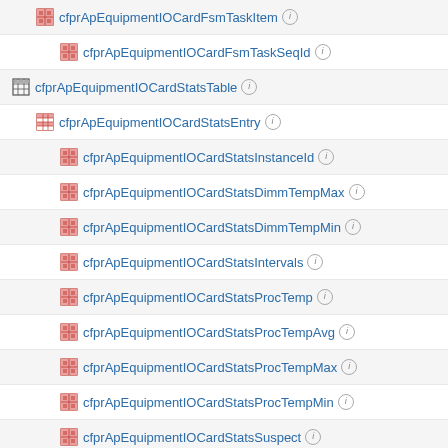cfprApEquipmentIOCardFsmTaskItem
cfprApEquipmentIOCardFsmTaskSeqId
cfprApEquipmentIOCardStatsTable
cfprApEquipmentIOCardStatsEntry
cfprApEquipmentIOCardStatsInstanceId
cfprApEquipmentIOCardStatsDimmTempMax
cfprApEquipmentIOCardStatsDimmTempMin
cfprApEquipmentIOCardStatsIntervals
cfprApEquipmentIOCardStatsProcTemp
cfprApEquipmentIOCardStatsProcTempAvg
cfprApEquipmentIOCardStatsProcTempMax
cfprApEquipmentIOCardStatsProcTempMin
cfprApEquipmentIOCardStatsSuspect
cfprApEquipmentIOCardStatsTemp
cfprApEquipmentIOCardStatsTempAvg
cfprApEquipmentIOCardStatsDn